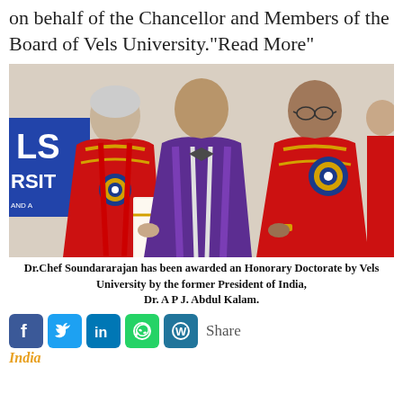on behalf of the Chancellor and Members of the Board of Vels University."Read More"
[Figure (photo): Three men in academic regalia at a university convocation. One person in the middle wearing purple robes presents a certificate. The leftmost person in red robes appears elderly. The rightmost person in red robes with blue/gold rosette badge receives the certificate. A 'LS RSIT' banner visible in background with 'Date:' text.]
Dr.Chef Soundararajan has been awarded an Honorary Doctorate by Vels University by the former President of India, Dr. A P J. Abdul Kalam.
[Figure (other): Social media share icons: Facebook, Twitter, LinkedIn, WhatsApp, WordPress, and Share text label]